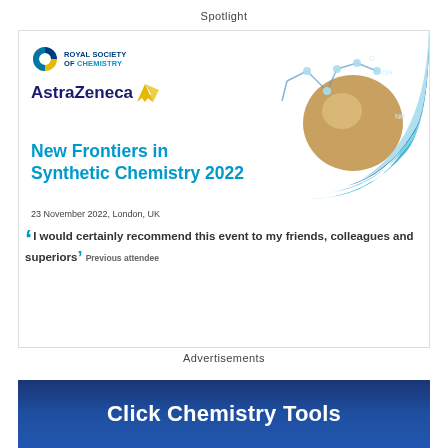Spotlight
[Figure (illustration): Advertisement for New Frontiers in Synthetic Chemistry 2022 event. Contains Royal Society of Chemistry logo, AstraZeneca logo, molecular structure image in top right, event title in teal, date and location, and a testimonial quote from a previous attendee.]
Advertisements
[Figure (illustration): Click Chemistry Tools banner with dark blue gradient background and white bold text.]